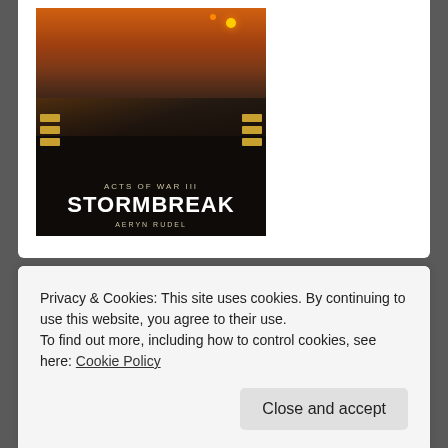[Figure (illustration): Book cover for 'Acts of War III: Stormbreak' by Aeryn Rudel — dark fantasy/steampunk battle scene with armored warriors, mechanical constructs, and explosions in background; gold decorative bars on left and right sides; title text at bottom.]
Recent Posts
Three Things I Learned as a Magazine Editor
Privacy & Cookies: This site uses cookies. By continuing to use this website, you agree to their use.
To find out more, including how to control cookies, see here: Cookie Policy